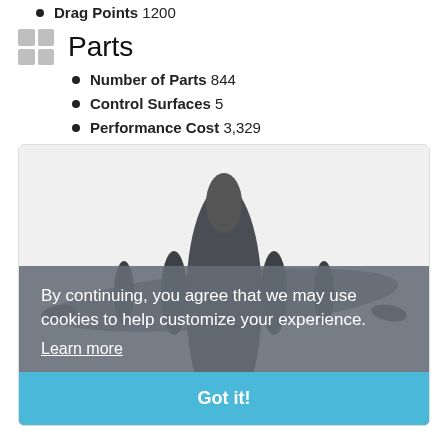Drag Points 1200
Parts
Number of Parts 844
Control Surfaces 5
Performance Cost 3,329
[Figure (photo): Top-down 3D render of a multi-engine aircraft (dark gray) viewed from above, with fuselage, wings, and engine nacelles visible.]
By continuing, you agree that we may use cookies to help customize your experience.
Learn more
Got it!